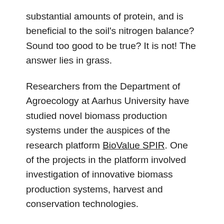substantial amounts of protein, and is beneficial to the soil's nitrogen balance? Sound too good to be true? It is not! The answer lies in grass.
Researchers from the Department of Agroecology at Aarhus University have studied novel biomass production systems under the auspices of the research platform BioValue SPIR. One of the projects in the platform involved investigation of innovative biomass production systems, harvest and conservation technologies.
The results from the project indicate that perennial grasses have a number of advantages compared to traditional annual crops. Among other things, fertilised perennial grasses outperformed all the other systems